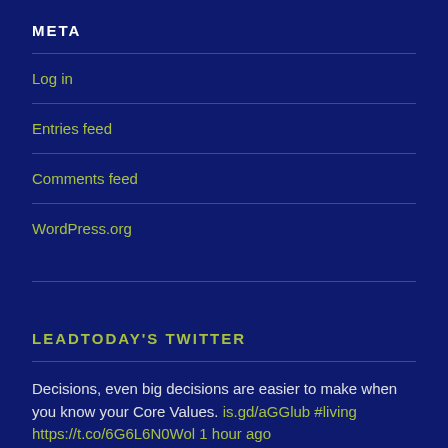META
Log in
Entries feed
Comments feed
WordPress.org
LEADTODAY'S TWITTER
Decisions, even big decisions are easier to make when you know your Core Values. is.gd/aGGlub #living https://t.co/6G6L6N0Wol 1 hour ago
We don't see things as they are, we see things as we are...